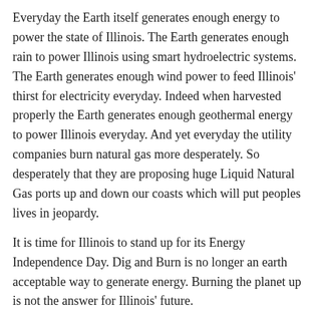Everyday the Earth itself generates enough energy to power the state of Illinois. The Earth generates enough rain to power Illinois using smart hydroelectric systems. The Earth generates enough wind power to feed Illinois' thirst for electricity everyday. Indeed when harvested properly the Earth generates enough geothermal energy to power Illinois everyday. And yet everyday the utility companies burn natural gas more desperately. So desperately that they are proposing huge Liquid Natural Gas ports up and down our coasts which will put peoples lives in jeopardy.
It is time for Illinois to stand up for its Energy Independence Day. Dig and Burn is no longer an earth acceptable way to generate energy. Burning the planet up is not the answer for Illinois' future.
This entry was posted in advanced energy structures, Bali Protocols, burn free generation, economics, Energy Tough Love Blog, fossil fuels and the United States' Future, global warming, green transportation, over population